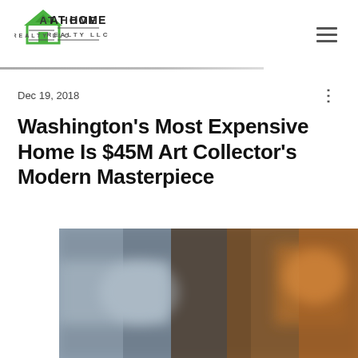[Figure (logo): At Home Realty LLC logo with green house icon and text]
Dec 19, 2018
Washington's Most Expensive Home Is $45M Art Collector's Modern Masterpiece
[Figure (photo): Blurred interior photo of a modern home showing artwork and warm ambient lighting]